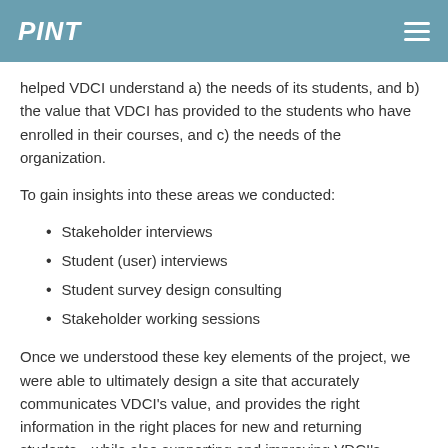PINT
helped VDCI understand a) the needs of its students, and b) the value that VDCI has provided to the students who have enrolled in their courses, and c) the needs of the organization.
To gain insights into these areas we conducted:
Stakeholder interviews
Student (user) interviews
Student survey design consulting
Stakeholder working sessions
Once we understood these key elements of the project, we were able to ultimately design a site that accurately communicates VDCI's value, and provides the right information in the right places for new and returning students…while also supporting and improving VDCI's organizational processes.
Discovery